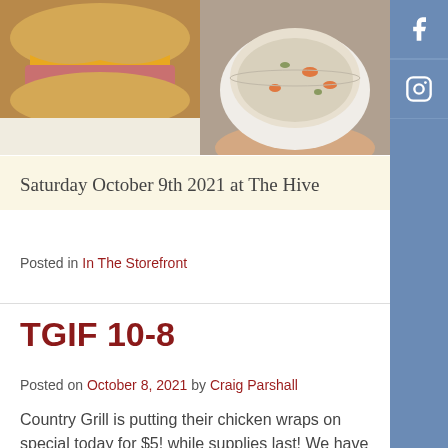[Figure (photo): Two food photos side by side: left shows a sandwich with ham and cheese sauce, right shows a bowl of creamy soup with vegetables]
Saturday October 9th 2021 at The Hive
Posted in In The Storefront
TGIF 10-8
Posted on October 8, 2021 by Craig Parshall
Country Grill is putting their chicken wraps on special today for $5! while supplies last! We have baked chicken parmigiana, baked ziti with Italian sausage, chicken tetrazzini, cream of chicken and rice soup, chicken soup with cheese tortellini, beef bacon and sausage chili, ham egg and cheese or bacon egg and cheese breakfast